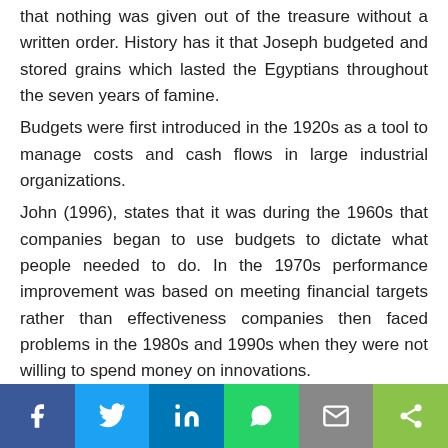that nothing was given out of the treasure without a written order. History has it that Joseph budgeted and stored grains which lasted the Egyptians throughout the seven years of famine.
Budgets were first introduced in the 1920s as a tool to manage costs and cash flows in large industrial organizations.
John (1996), states that it was during the 1960s that companies began to use budgets to dictate what people needed to do. In the 1970s performance improvement was based on meeting financial targets rather than effectiveness companies then faced problems in the 1980s and 1990s when they were not willing to spend money on innovations.